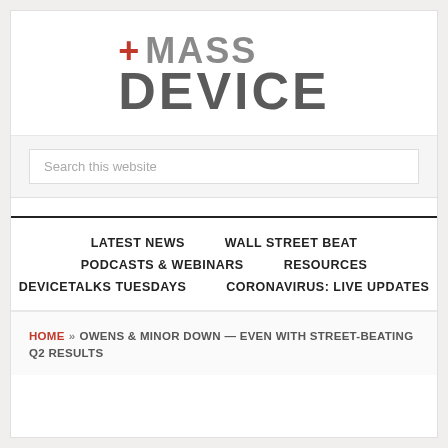[Figure (logo): MassDevice logo with red plus sign and gray MASS DEVICE text]
Search this website
LATEST NEWS   WALL STREET BEAT   PODCASTS & WEBINARS   RESOURCES   DEVICETALKS TUESDAYS   CORONAVIRUS: LIVE UPDATES
HOME » OWENS & MINOR DOWN — EVEN WITH STREET-BEATING Q2 RESULTS